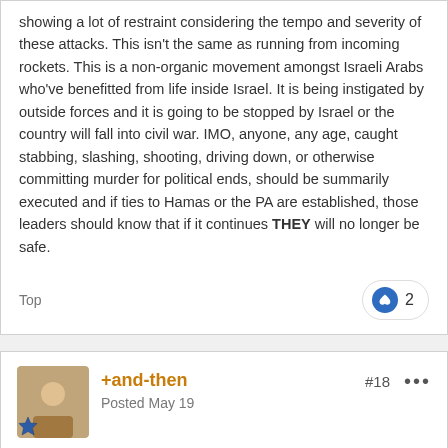showing a lot of restraint considering the tempo and severity of these attacks.  This isn't the same as running from incoming rockets.  This is a non-organic movement amongst Israeli Arabs who've benefitted from life inside Israel.  It is being instigated by outside forces and it is going to be stopped by Israel or the country will fall into civil war.  IMO, anyone, any age, caught stabbing, slashing, shooting, driving down, or otherwise committing murder for political ends, should be summarily executed and if ties to Hamas or the PA are established, those leaders should know that if it continues THEY will no longer be safe.
Top
+and-then
Posted May 19
#18
On 5/18/2022 at 6:24 PM, odas said:
47 Palestinians were killed by Israelie forces in 2022, including 8